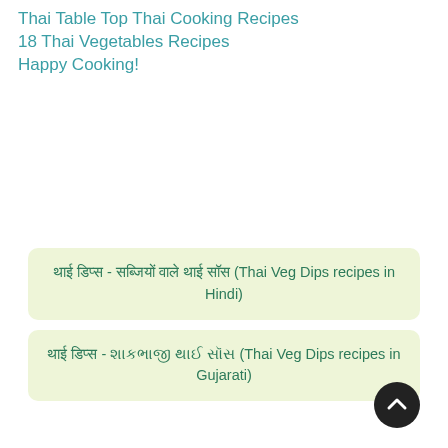Thai Table Top Thai Cooking Recipes
18 Thai Vegetables Recipes
Happy Cooking!
थाई डिप्स - सब्जियों वाले थाई सॉस (Thai Veg Dips recipes in Hindi)
थाई डिप्स - શાકભાજી થાઈ સૉસ (Thai Veg Dips recipes in Gujarati)